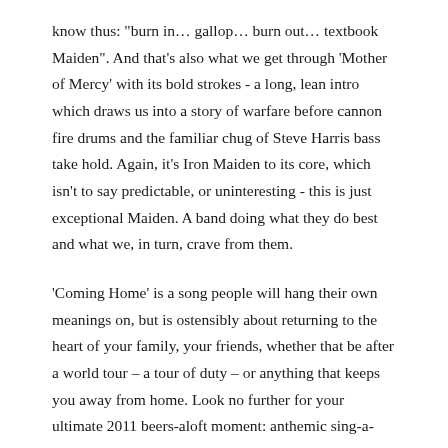know thus: "burn in… gallop… burn out… textbook Maiden". And that's also what we get through 'Mother of Mercy' with its bold strokes - a long, lean intro which draws us into a story of warfare before cannon fire drums and the familiar chug of Steve Harris bass take hold. Again, it's Iron Maiden to its core, which isn't to say predictable, or uninteresting - this is just exceptional Maiden. A band doing what they do best and what we, in turn, crave from them.
'Coming Home' is a song people will hang their own meanings on, but is ostensibly about returning to the heart of your family, your friends, whether that be after a world tour – a tour of duty – or anything that keeps you away from home. Look no further for your ultimate 2011 beers-aloft moment: anthemic sing-a-longs do not get bigger, brassier or better. Bruce Dickinson manages to have a twinkle in his eye and at the same time radiate incredible sincerity. When he sings about returning to 'Albions land', he means it. It's nostalgic on every conceivable level and, in the hands of another